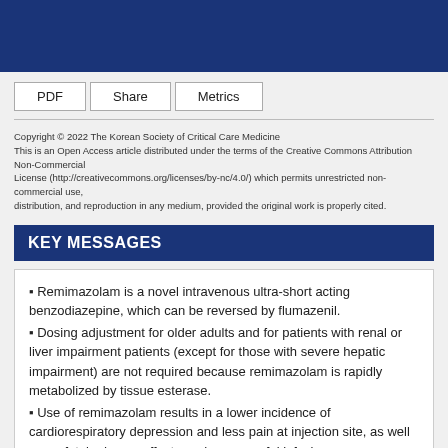PDF  Share  Metrics
Copyright © 2022 The Korean Society of Critical Care Medicine
This is an Open Access article distributed under the terms of the Creative Commons Attribution Non-Commercial License (http://creativecommons.org/licenses/by-nc/4.0/) which permits unrestricted non-commercial use, distribution, and reproduction in any medium, provided the original work is properly cited.
KEY MESSAGES
Remimazolam is a novel intravenous ultra-short acting benzodiazepine, which can be reversed by flumazenil.
Dosing adjustment for older adults and for patients with renal or liver impairment patients (except for those with severe hepatic impairment) are not required because remimazolam is rapidly metabolized by tissue esterase.
Use of remimazolam results in a lower incidence of cardiorespiratory depression and less pain at injection site, as well as no fatal adverse effects such as propofol infusion